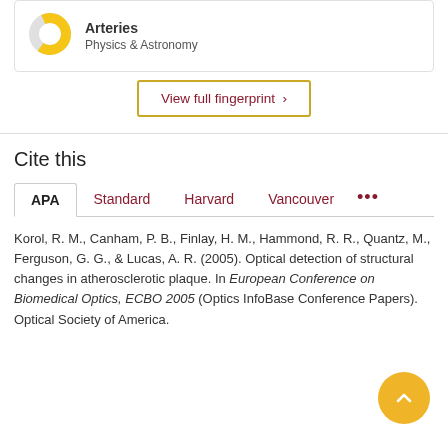[Figure (donut-chart): Donut chart for Arteries - Physics & Astronomy]
Arteries
Physics & Astronomy
View full fingerprint >
Cite this
APA  Standard  Harvard  Vancouver  ...
Korol, R. M., Canham, P. B., Finlay, H. M., Hammond, R. R., Quantz, M., Ferguson, G. G., & Lucas, A. R. (2005). Optical detection of structural changes in atherosclerotic plaque. In European Conference on Biomedical Optics, ECBO 2005 (Optics InfoBase Conference Papers). Optical Society of America.